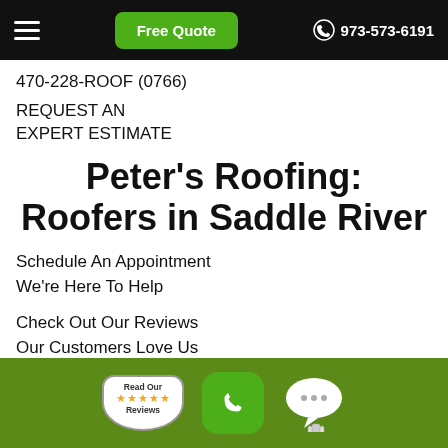Free Quote | 973-573-6191
470-228-ROOF (0766)
REQUEST AN EXPERT ESTIMATE
Peter's Roofing: Roofers in Saddle River
Schedule An Appointment
We're Here To Help
Check Out Our Reviews
Our Customers Love Us
[Figure (screenshot): Bottom action bar with Read Our Reviews badge, green phone button, and chat bubble icon on olive green background]